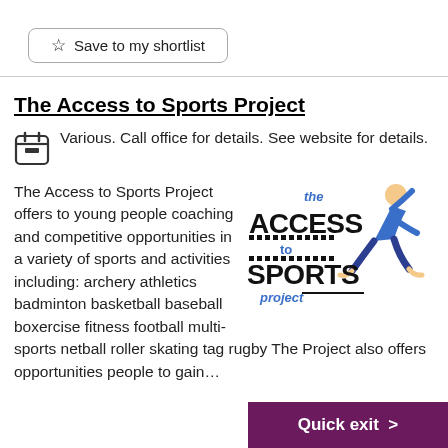Save to my shortlist
Various. Call office for details. See website for details.
The Access to Sports Project
The Access to Sports Project offers to young people coaching and competitive opportunities in a variety of sports and activities including: archery athletics badminton basketball baseball boxercise fitness football multi-sports netball roller skating tag rugby The Project also offers opportunities people to gain…
[Figure (logo): The Access to Sports Project logo with runner illustration]
Quick exit >